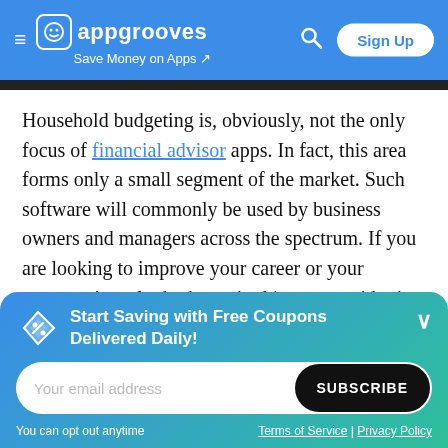appgrooves — Save Money on Apps
Household budgeting is, obviously, not the only focus of financial advisor apps. In fact, this area forms only a small segment of the market. Such software will commonly be used by business owners and managers across the spectrum. If you are looking to improve your career or your company's outlook, the main thing to consider is the sector the app specializes in. Some will be focused on helping freelancers or
Start Saving with Free Coupons Delivered Daily!
Your email address
SUBSCRIBE
You can opt out anytime
Terms of Service | Privacy Policy